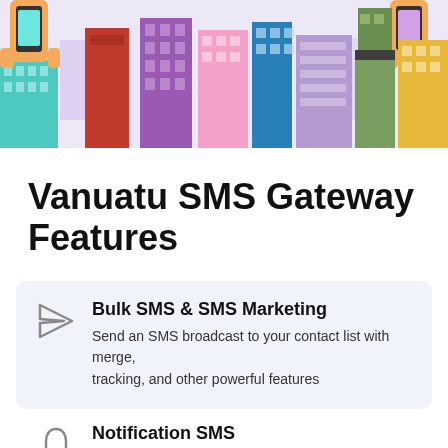[Figure (illustration): Colorful cartoon city skyline illustration with hands holding phones, buildings in purple, red, pink, teal, green, yellow colors on a light purple background]
Vanuatu SMS Gateway Features
Bulk SMS & SMS Marketing — Send an SMS broadcast to your contact list with merge, tracking, and other powerful features
Notification SMS — Send SMS to your customers when they purchase, make